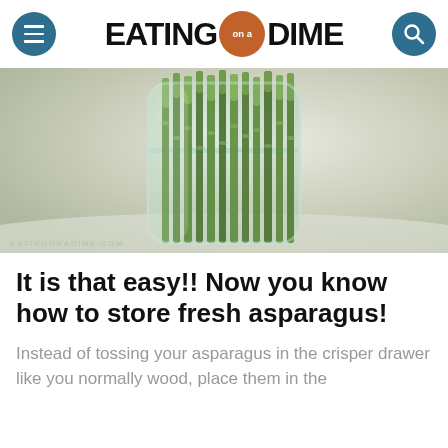EATING on a DIME
[Figure (photo): Asparagus stalks standing upright in a glass jar with water on a white marble surface, viewed from above at an angle. Watermark reads EATINGONADIME.COM.]
It is that easy!! Now you know how to store fresh asparagus!
Instead of tossing your asparagus in the crisper drawer like you normally wood, place them in the